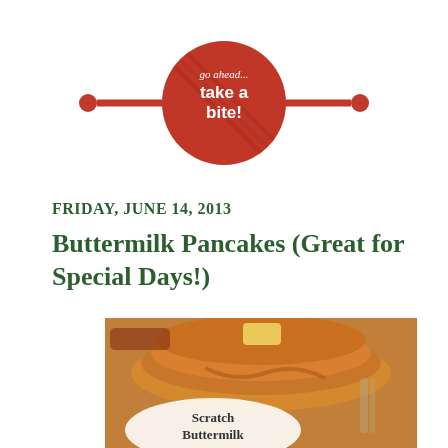[Figure (logo): Blog header logo: red circle with white text 'go ahead... take a bite!' flanked by two red horizontal arrows pointing inward toward the circle]
FRIDAY, JUNE 14, 2013
Buttermilk Pancakes (Great for Special Days!)
[Figure (photo): Close-up photo of a stack of golden buttermilk pancakes with butter on top, with a watermark overlay reading 'Scratch Buttermilk Pancakes']